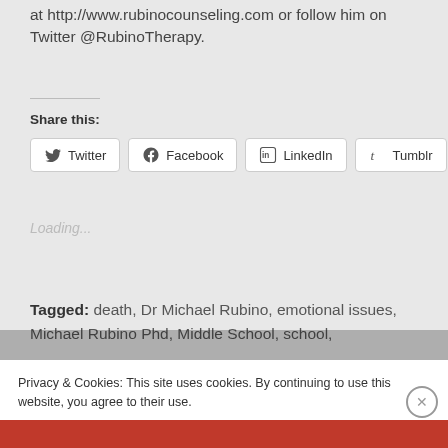at http://www.rubinocounseling.com or follow him on Twitter @RubinoTherapy.
Share this:
[Figure (screenshot): Social share buttons for Twitter, Facebook, LinkedIn, and Tumblr]
Loading...
Tagged:  death, Dr Michael Rubino,  emotional issues, Michael Rubino Phd,  Middle School,  school,
Privacy & Cookies: This site uses cookies. By continuing to use this website, you agree to their use.
To find out more, including how to control cookies, see here: Cookie Policy
Close and accept